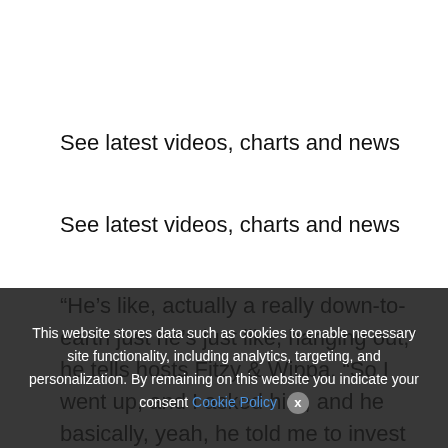See latest videos, charts and news
See latest videos, charts and news
“He’s like, actually a really down-to-earth just he’s just like, hanging out,” he tells hosts Fitzy & Wippa. “So I went up, and I asked him, and he basically, yeah, he told me to invest in something that I love. Which is the…
We use cookies on our website to give you the most relevant experience by remembering your preferences and repeat visits. By clicking “Accept All”, you consent to the use of ALL the cookies. However, you may visit “Cookie Settings” to provide a controlled consent.
This website stores data such as cookies to enable necessary site functionality, including analytics, targeting, and personalization. By remaining on this website you indicate your consent Cookie Policy